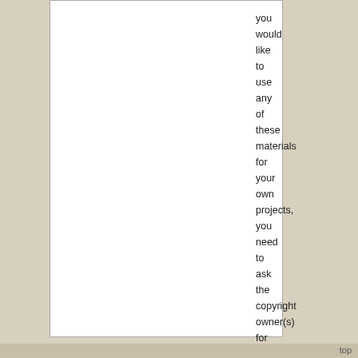you would like to use any of these materials for your own projects, you need to ask the copyright owner(s) for permission. For additional information, please refer to the ToL Copyright Policies.
top